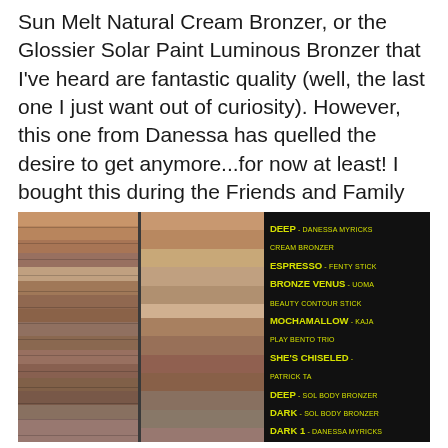Sun Melt Natural Cream Bronzer, or the Glossier Solar Paint Luminous Bronzer that I've heard are fantastic quality (well, the last one I just want out of curiosity). However, this one from Danessa has quelled the desire to get anymore...for now at least! I bought this during the Friends and Family sale, but it's definitely worth full price.
[Figure (photo): Side-by-side skin swatch comparisons of bronzer and contour products on dark skin, with a black panel on the right listing product names in yellow bold text: DEEP - Danessa Myricks Cream Bronzer, ESPRESSO - Fenty Stick, BRONZE VENUS - UOMA Beauty Contour Stick, MOCHAMALLOW - Kaja Play Bento Trio, SHE'S CHISELED - Patrick Ta, DEEP - Sol Body Bronzer, DARK - Sol Body Bronzer, DARK 1 - Danessa Myricks Balm Contour]